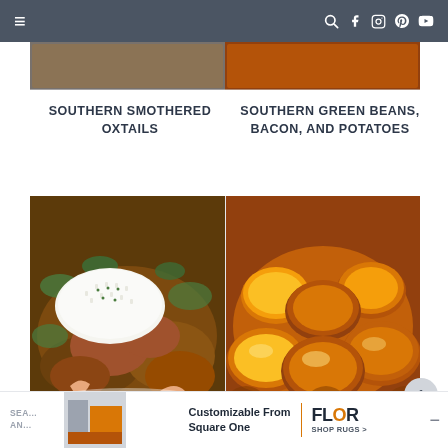Navigation bar with hamburger menu and social icons (search, facebook, instagram, pinterest, youtube)
[Figure (photo): Partial top image strip showing food photography]
SOUTHERN SMOTHERED OXTAILS
SOUTHERN GREEN BEANS, BACON, AND POTATOES
[Figure (photo): Two food photos side by side: left shows oxtails with rice in gravy; right shows glazed sweet potato slices in a bowl]
1
Ad: Customizable From Square One — FLOR SHOP RUGS >